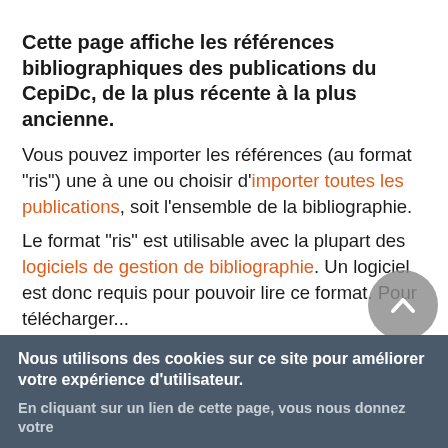Cette page affiche les références bibliographiques des publications du CepiDc, de la plus récente à la plus ancienne.
Vous pouvez importer les références (au format "ris") une à une ou choisir d'importer toutes les publications, soit l'ensemble de la bibliographie.
Le format "ris" est utilisable avec la plupart des logiciels de gestion de bibliographie. Un logiciel est donc requis pour pouvoir lire ce format. Pour télécharger...
Nous utilisons des cookies sur ce site pour améliorer votre expérience d'utilisateur.
En cliquant sur un lien de cette page, vous nous donnez votre